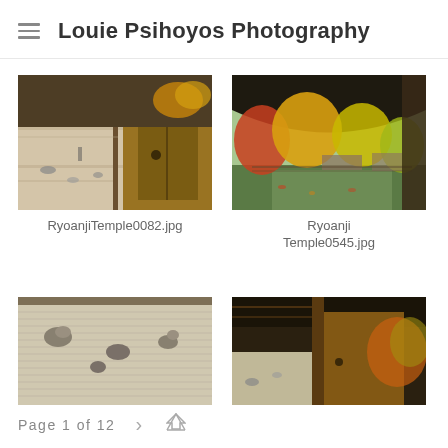Louie Psihoyos Photography
[Figure (photo): Interior view of Ryoanji Temple with wooden sliding door/wall panel and rock garden visible outside, autumn foliage in background]
RyoanjiTemple0082.jpg
[Figure (photo): View through curved arch of Ryoanji Temple garden with vibrant autumn foliage (red, orange, yellow trees) and traditional Japanese structures]
Ryoanji Temple0545.jpg
[Figure (photo): Overhead/aerial view of Ryoanji Temple rock garden (karesansui) showing raked gravel and stone arrangements]
[Figure (photo): Interior view of Ryoanji Temple showing wooden ceiling/overhang and sliding door with autumn foliage visible in background]
Page 1 of 12